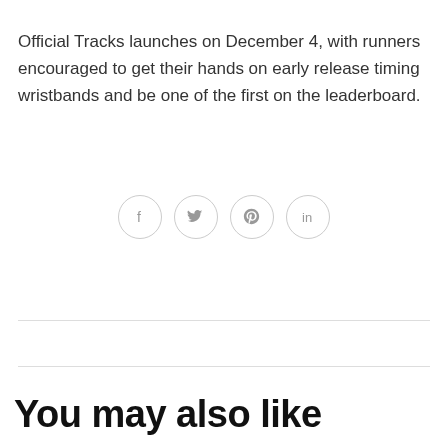Official Tracks launches on December 4, with runners encouraged to get their hands on early release timing wristbands and be one of the first on the leaderboard.
[Figure (infographic): Four social media share icons in circles: Facebook (f), Twitter (bird), Pinterest (p), LinkedIn (in)]
You may also like